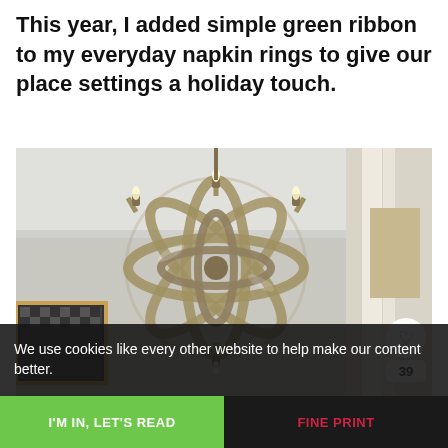This year, I added simple green ribbon to my everyday napkin rings to give our place settings a holiday touch.
[Figure (photo): A metallic orb/sphere chandelier with multiple candelabra-style lights, hanging from a white ceiling in what appears to be a dining room. A heart/save button and count badge '39' are visible in the lower right corner of the image.]
We use cookies like every other website to help make our content better.
I'M IN, LET'S READ
FINE PRINT